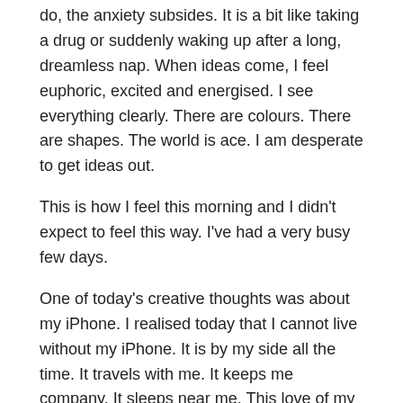do, the anxiety subsides. It is a bit like taking a drug or suddenly waking up after a long, dreamless nap. When ideas come, I feel euphoric, excited and energised. I see everything clearly. There are colours. There are shapes. The world is ace. I am desperate to get ideas out.
This is how I feel this morning and I didn't expect to feel this way. I've had a very busy few days.
One of today's creative thoughts was about my iPhone. I realised today that I cannot live without my iPhone. It is by my side all the time. It travels with me. It keeps me company. It sleeps near me. This love of my iPhone isn't related to connectivity with the world via social media and the Internet (although it does do that for me and I love all that), this love is to do with the iPhone as art medium.
If an art idea strikes me, such as, photographing something I spot on my travels, or making a video, then my iPhone is my medium of choice. It can do both. I don't even need to use PhotoShop or Adobe AfterEffects.
Or if an abstract thought comes to me, or I see a poster for an art exhibition, I reach for my iPhone to explore the web like the cyberflaneur that I am. And doing that leads to other things and other